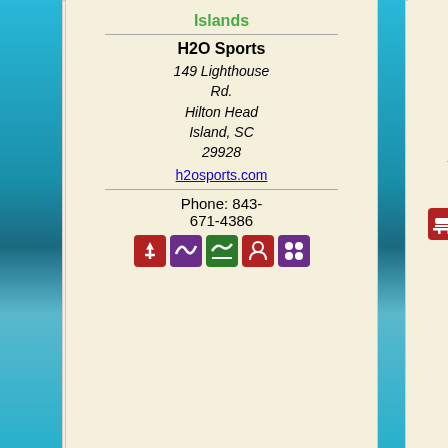Islands
H2O Sports
149 Lighthouse Rd.
Hilton Head Island, SC 29928
h2osports.com
Phone: 843-671-4386
Geechie Mahn Tours
PO Box 1248
St. Helena Island, SC 29920
gullahngeechietours.com
Phone: 843-838-7516
Lowcountry & Resort Islands
Hampton
Lowcountry & Resort Islands
Haig Point Lighthouse
Haig Point Daufuskie